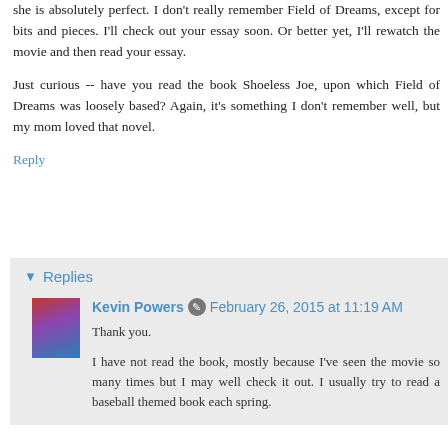she is absolutely perfect. I don't really remember Field of Dreams, except for bits and pieces. I'll check out your essay soon. Or better yet, I'll rewatch the movie and then read your essay.
Just curious -- have you read the book Shoeless Joe, upon which Field of Dreams was loosely based? Again, it's something I don't remember well, but my mom loved that novel.
Reply
Replies
Kevin Powers   February 26, 2015 at 11:19 AM
Thank you.
I have not read the book, mostly because I've seen the movie so many times but I may well check it out. I usually try to read a baseball themed book each spring.